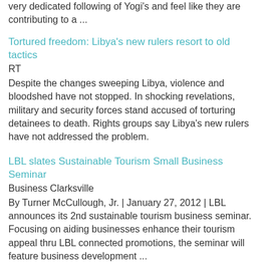full-time year 42 Yoga Teacher Trainings. They have created a very dedicated following of Yogi's and feel like they are contributing to a ...
Tortured freedom: Libya's new rulers resort to old tactics
RT
Despite the changes sweeping Libya, violence and bloodshed have not stopped. In shocking revelations, military and security forces stand accused of torturing detainees to death. Rights groups say Libya's new rulers have not addressed the problem.
LBL slates Sustainable Tourism Small Business Seminar
Business Clarksville
By Turner McCullough, Jr. | January 27, 2012 | LBL announces its 2nd sustainable tourism business seminar. Focusing on aiding businesses enhance their tourism appeal thru LBL connected promotions, the seminar will feature business development ...
Wilmington wins tourism awards, elects new officers
Greater Wilmington Business Journal
Hufham also announced the Tourism Development